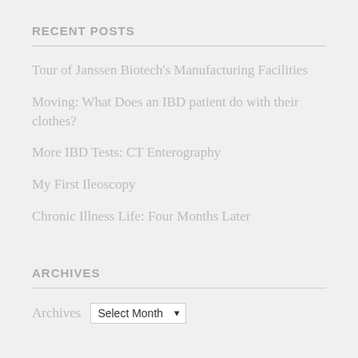RECENT POSTS
Tour of Janssen Biotech's Manufacturing Facilities
Moving: What Does an IBD patient do with their clothes?
More IBD Tests: CT Enterography
My First Ileoscopy
Chronic Illness Life: Four Months Later
ARCHIVES
Archives  Select Month